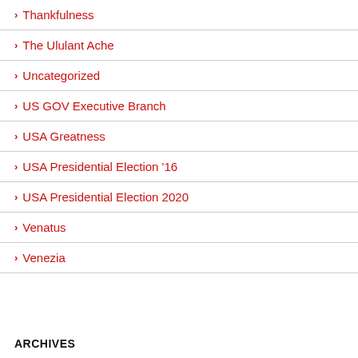Thankfulness
The Ululant Ache
Uncategorized
US GOV Executive Branch
USA Greatness
USA Presidential Election '16
USA Presidential Election 2020
Venatus
Venezia
ARCHIVES